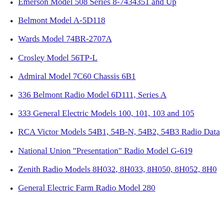Emerson Model 508 Series 8-7434351 and Up
Belmont Model A-5D118
Wards Model 74BR-2707A
Crosley Model 56TP-L
Admiral Model 7C60 Chassis 6B1
336 Belmont Radio Model 6D111, Series A
333 General Electric Models 100, 101, 103 and 105
RCA Victor Models 54B1, 54B-N, 54B2, 54B3 Radio Data
National Union "Presentation" Radio Model G-619
Zenith Radio Models 8H032, 8H033, 8H050, 8H052, 8H0
General Electric Farm Radio Model 280